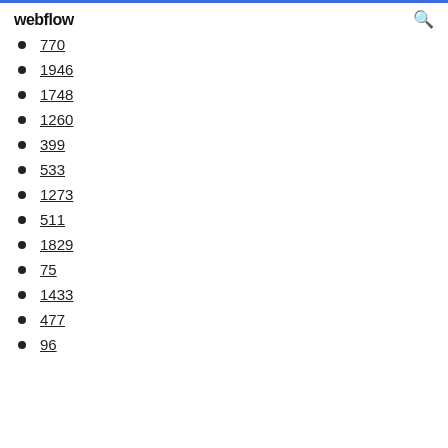webflow
770
1946
1748
1260
399
533
1273
511
1829
75
1433
477
96